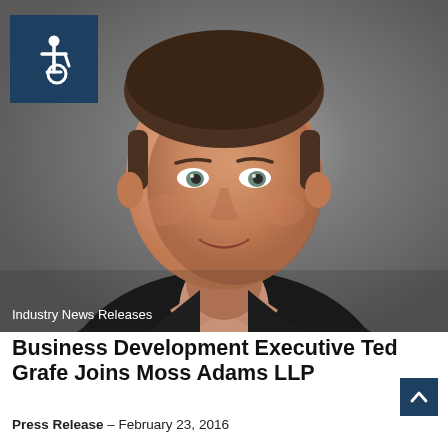[Figure (photo): Professional headshot of Ted Grafe, a man in a dark suit jacket and light peach/salmon dress shirt, smiling at camera against a gray background. An accessibility (wheelchair) icon is overlaid in a dark blue square in the top-left corner.]
Industry News Releases
Business Development Executive Ted Grafe Joins Moss Adams LLP
Press Release – February 23, 2016